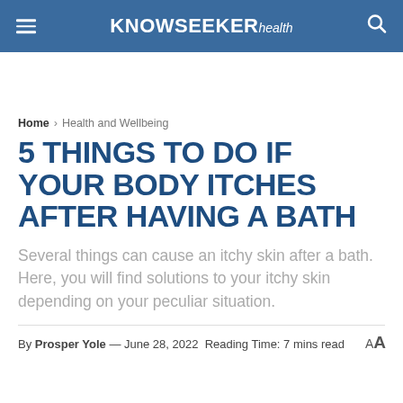KNOWSEEKER health
Home > Health and Wellbeing
5 THINGS TO DO IF YOUR BODY ITCHES AFTER HAVING A BATH
Several things can cause an itchy skin after a bath. Here, you will find solutions to your itchy skin depending on your peculiar situation.
By Prosper Yole — June 28, 2022 Reading Time: 7 mins read AA